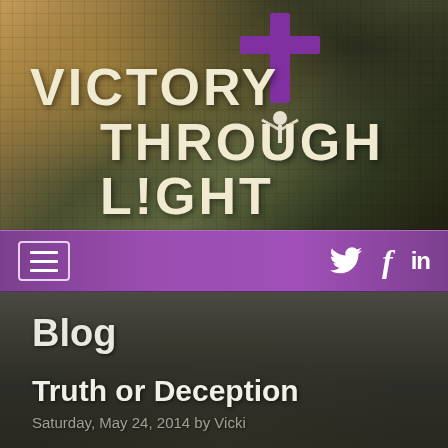[Figure (illustration): Website header banner with dramatic sky and trees background with chain-link fence grid overlay, featuring a cross with a figure silhouette and the logo text 'Victory Through Light' in large cream/off-white letters]
[Figure (screenshot): Purple navigation bar with hamburger menu icon on the left and Twitter bird, Facebook 'f', and LinkedIn 'in' social media icons on the right]
Blog
Truth or Deception
Saturday, May 24, 2014 by Vicki